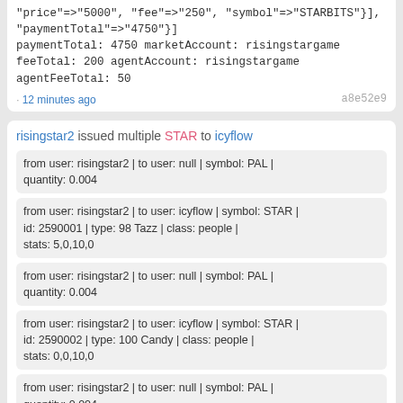"price"=>"5000", "fee"=>"250", "symbol"=>"STARBITS"},
"paymentTotal"=>"4750"}]
paymentTotal: 4750 marketAccount: risingstargame
feeTotal: 200 agentAccount: risingstargame
agentFeeTotal: 50
· 12 minutes ago    a8e52e9
risingstar2 issued multiple STAR to icyflow
from user: risingstar2 | to user: null | symbol: PAL | quantity: 0.004
from user: risingstar2 | to user: icyflow | symbol: STAR | id: 2590001 | type: 98 Tazz | class: people | stats: 5,0,10,0
from user: risingstar2 | to user: null | symbol: PAL | quantity: 0.004
from user: risingstar2 | to user: icyflow | symbol: STAR | id: 2590002 | type: 100 Candy | class: people | stats: 0,0,10,0
from user: risingstar2 | to user: null | symbol: PAL | quantity: 0.004
from user: risingstar2 | to user: icyflow | symbol: STAR | id: 2590003 | type: R225 Fretless Guitar | class: instrument | stats: 0,50,0,0
· 12 minutes ago    f00e97b